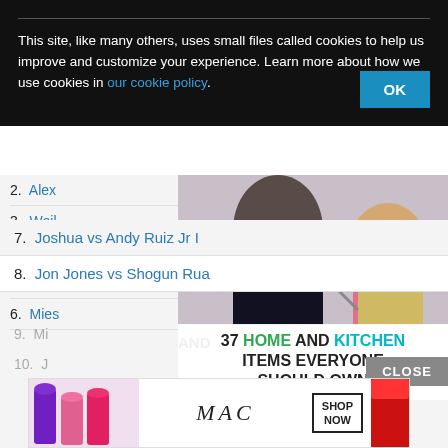This site, like many others, uses small files called cookies to help us improve and customize your experience. Learn more about how we use cookies in our cookie policy.
2. Alex
3. Weil
4. Man
5. Carl
6. Mies
[Figure (photo): Woman and young girl cooking together in kitchen, smiling. Overlay text reads: 37 HOME AND KITCHEN ITEMS EVERYONE SHOULD OWN]
7. Joshua vs Andy Ruiz Jr I
8. Jon Jones vs Shogun Rua
9. Mi
10. J
[Figure (advertisement): MAC cosmetics advertisement showing lipsticks in purple, pink, and red with MAC logo and SHOP NOW button]